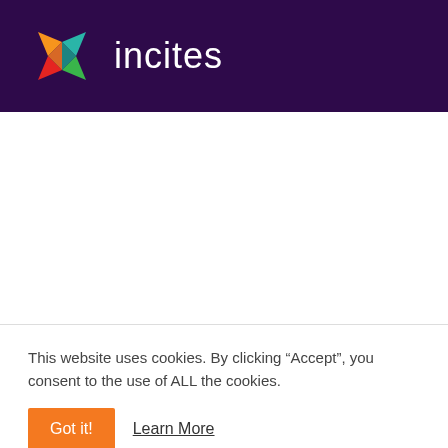[Figure (logo): Incites logo: colorful butterfly/pinwheel icon with orange, red, green, teal triangular segments, followed by the word 'incites' in white lowercase text on dark purple background]
This website uses cookies. By clicking “Accept”, you consent to the use of ALL the cookies.
Got it!
Learn More